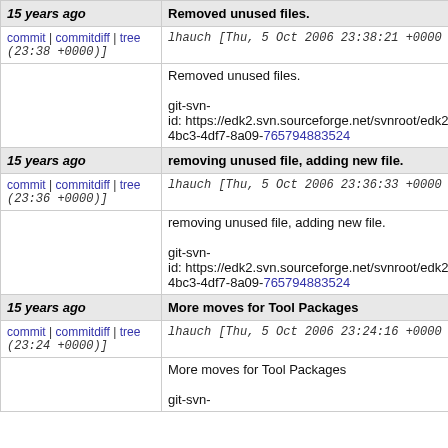15 years ago | Removed unused files.
commit | commitdiff | tree
lhauch [Thu, 5 Oct 2006 23:38:21 +0000 (23:38 +0000)]
Removed unused files.

git-svn-id: https://edk2.svn.sourceforge.net/svnroot/edk2/t 4bc3-4df7-8a09-765794883524
15 years ago | removing unused file, adding new file.
commit | commitdiff | tree
lhauch [Thu, 5 Oct 2006 23:36:33 +0000 (23:36 +0000)]
removing unused file, adding new file.

git-svn-id: https://edk2.svn.sourceforge.net/svnroot/edk2/t 4bc3-4df7-8a09-765794883524
15 years ago | More moves for Tool Packages
commit | commitdiff | tree
lhauch [Thu, 5 Oct 2006 23:24:16 +0000 (23:24 +0000)]
More moves for Tool Packages

git-svn-